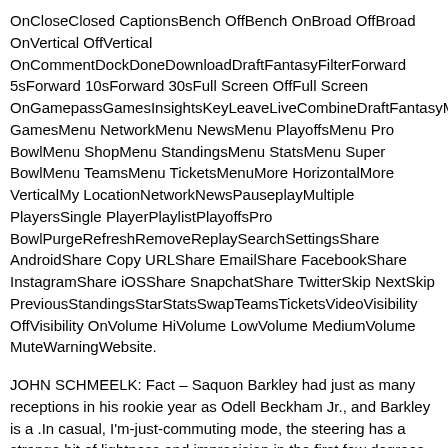OnCloseClosed CaptionsBench OffBench OnBroad OffBroad OnVertical OffVertical OnCommentDockDoneDownloadDraftFantasyFilterForward 5sForward 10sForward 30sFull Screen OffFull Screen OnGamepassGamesInsightsKeyLeaveLiveCombineDraftFantasyMenu GamesMenu NetworkMenu NewsMenu PlayoffsMenu Pro BowlMenu ShopMenu StandingsMenu StatsMenu Super BowlMenu TeamsMenu TicketsMenuMore HorizontalMore VerticalMy LocationNetworkNewsPauseplayMultiple PlayersSingle PlayerPlaylistPlayoffsPro BowlPurgeRefreshRemoveReplaySearchSettingsShare AndroidShare Copy URLShare EmailShare FacebookShare InstagramShare iOSShare SnapchatShare TwitterSkip NextSkip PreviousStandingsStarStatsSwapTeamsTicketsVideoVisibility OffVisibility OnVolume HiVolume LowVolume MediumVolume MuteWarningWebsite.
JOHN SCHMEELK: Fact – Saquon Barkley had just as many receptions in his rookie year as Odell Beckham Jr., and Barkley is a .In casual, I'm-just-commuting mode, the steering has a strange bit of lightness and imprecision in the first few degrees off straight ahead.Great pick.Varone is still experiencing the best NHL season of his career, cheap nfl jerseys but the 28-year-old has three goals and seven points with 23 shots on net in 35 games.– More AP MLB: https: MLB and https: AP-Sports.
That may mean Jones still thinks he's going to get a pretty good deal